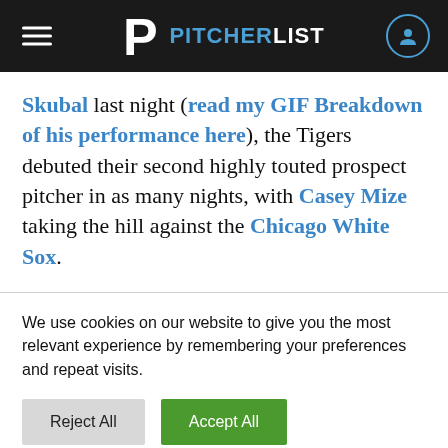PITCHERLIST
Skubal last night (read my GIF Breakdown of his performance here), the Tigers debuted their second highly touted prospect pitcher in as many nights, with Casey Mize taking the hill against the Chicago White Sox.
We use cookies on our website to give you the most relevant experience by remembering your preferences and repeat visits.